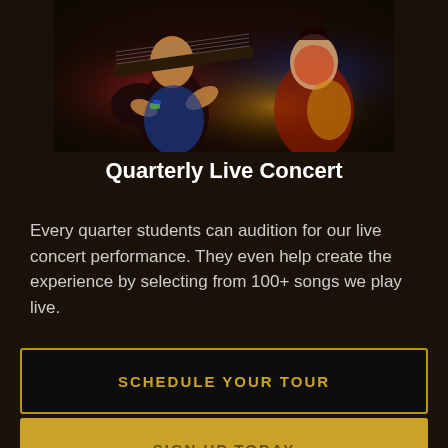[Figure (photo): Concert photo showing a guitarist performing live on stage, colorful lighting with red, blue, and gold tones]
Quarterly Live Concert
Every quarter students can audition for our live concert performance. They even help create the experience by selecting from 100+ songs we play live.
SCHEDULE YOUR TOUR
SIGN UP TODAY